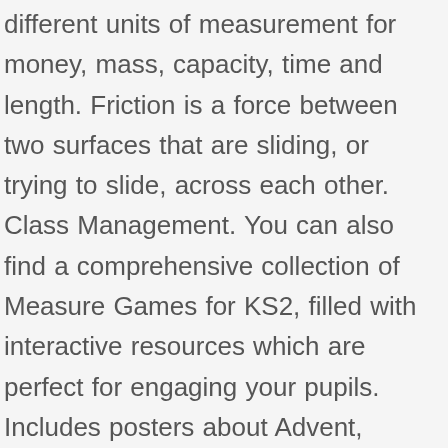different units of measurement for money, mass, capacity, time and length. Friction is a force between two surfaces that are sliding, or trying to slide, across each other. Class Management. You can also find a comprehensive collection of Measure Games for KS2, filled with interactive resources which are perfect for engaging your pupils. Includes posters about Advent, Christmas Traditions, The Christmas Alphabet, The Nativity Story and more. Posters ideal for displaying in your classroom to remind children of some of the key word classes: prepositions, determiners, abstract nouns, pronouns and conjunctions. Whether you are teaching KS2 measures in a plenary setting, looking for guidance for one-to-one booster sessions or are simply a parent looking to aid their children's learning, we have a top pick of resources for you to … This